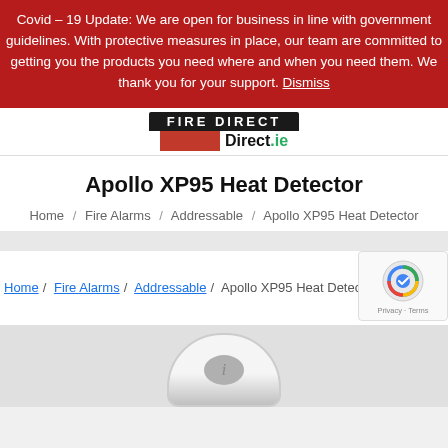Covid – 19 Update: We are open for business in line with government guidelines. With protective measures in place, our team are committed to getting you the products you need where and when you need them. We thank you for your support. Dismiss
[Figure (logo): FireDirect.ie logo with dark top bar showing brand name and red bar with 'Direct.ie' below]
Apollo XP95 Heat Detector
Home / Fire Alarms / Addressable / Apollo XP95 Heat Detector
Home / Fire Alarms / Addressable / Apollo XP95 Heat Detector
[Figure (photo): Partial top view of Apollo XP95 Heat Detector device, circular white/grey unit]